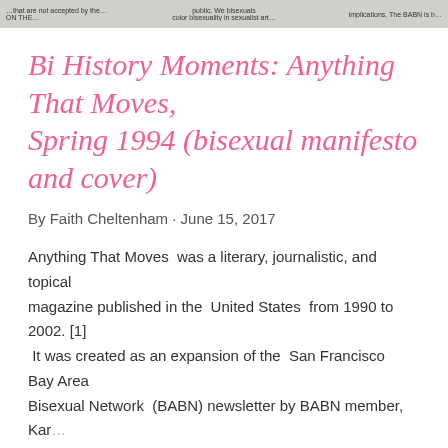...that are not accepted by the... public. We bisexuals color bisexuality in sexualist art... implications. The BABN is b...
Bi History Moments: Anything That Moves, Spring 1994 (bisexual manifesto and cover)
By Faith Cheltenham · June 15, 2017
Anything That Moves was a literary, journalistic, and topical magazine published in the United States from 1990 to 2002. [1] It was created as an expansion of the San Francisco Bay Area Bisexual Network (BABN) newsletter by BABN member, Kar…
SHARE
READ MORE
No, I didn't attempt to steal the bisexual pride flag